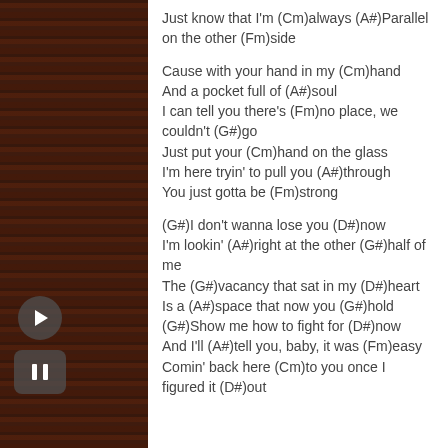Just know that I'm (Cm)always (A#)Parallel on the other (Fm)side
Cause with your hand in my (Cm)hand And a pocket full of (A#)soul I can tell you there's (Fm)no place, we couldn't (G#)go Just put your (Cm)hand on the glass I'm here tryin' to pull you (A#)through You just gotta be (Fm)strong
(G#)I don't wanna lose you (D#)now I'm lookin' (A#)right at the other (G#)half of me The (G#)vacancy that sat in my (D#)heart Is a (A#)space that now you (G#)hold (G#)Show me how to fight for (D#)now And I'll (A#)tell you, baby, it was (Fm)easy Comin' back here (Cm)to you once I figured it (D#)out